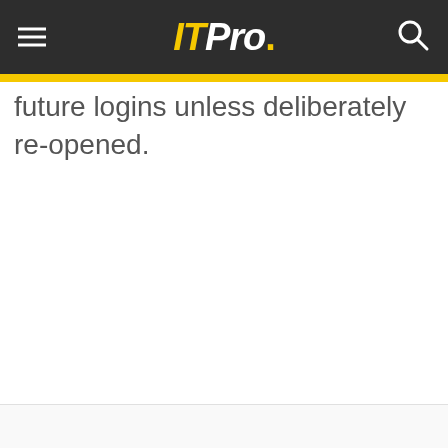ITPro.
future logins unless deliberately re-opened.